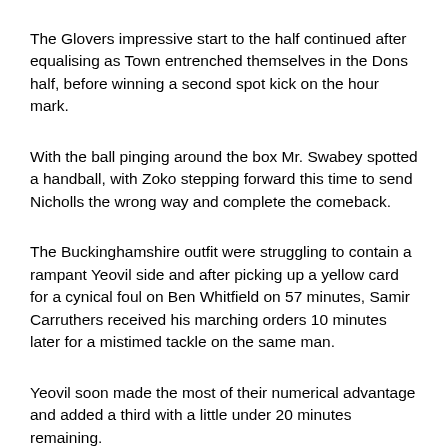The Glovers impressive start to the half continued after equalising as Town entrenched themselves in the Dons half, before winning a second spot kick on the hour mark.
With the ball pinging around the box Mr. Swabey spotted a handball, with Zoko stepping forward this time to send Nicholls the wrong way and complete the comeback.
The Buckinghamshire outfit were struggling to contain a rampant Yeovil side and after picking up a yellow card for a cynical foul on Ben Whitfield on 57 minutes, Samir Carruthers received his marching orders 10 minutes later for a mistimed tackle on the same man.
Yeovil soon made the most of their numerical advantage and added a third with a little under 20 minutes remaining.